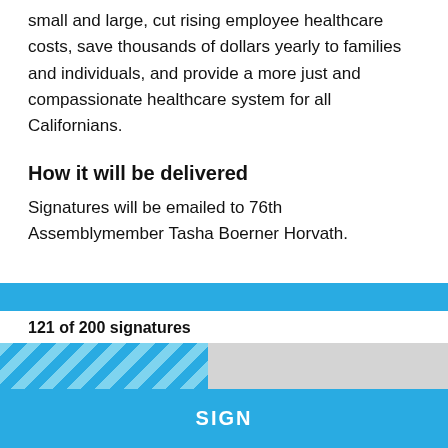small and large, cut rising employee healthcare costs, save thousands of dollars yearly to families and individuals, and provide a more just and compassionate healthcare system for all Californians.
How it will be delivered
Signatures will be emailed to 76th Assemblymember Tasha Boerner Horvath.
121 of 200 signatures
[Figure (infographic): Progress bar showing 121 of 200 signatures collected, approximately 60% filled with a diagonal blue stripe pattern, with a blue navigation bar above and a SIGN button below.]
SIGN